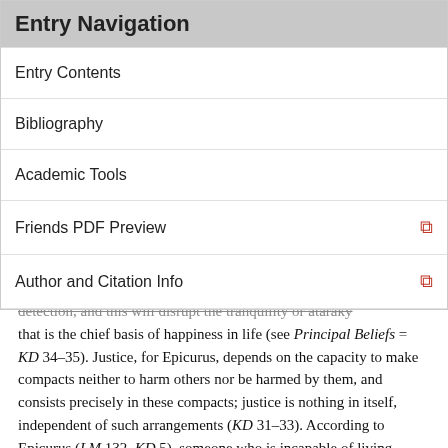Entry Navigation
Entry Contents
Bibliography
Academic Tools
Friends PDF Preview
Author and Citation Info
detection, and this will disrupt the tranquility or ataraky that is the chief basis of happiness in life (see Principal Beliefs = KD 34–35). Justice, for Epicurus, depends on the capacity to make compacts neither to harm others nor be harmed by them, and consists precisely in these compacts; justice is nothing in itself, independent of such arrangements (KD 31–33). According to Epicurus (LM 132, KD 5), someone who is incapable of living prudently, honorably, and justly cannot live pleasurably, and vice versa. Moreover, prudence or wisdom (phronêsis) is the chief of the virtues: on it depend all the rest. This again sounds calculating, as though justice were